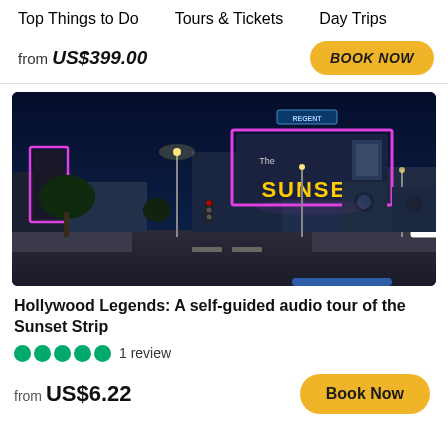Top Things to Do    Tours & Tickets    Day Trips
from US$399.00   BOOK NOW
[Figure (photo): Night photo of Sunset Strip / Sunset Plaza in Hollywood, Los Angeles. Neon signs including 'The SUNSET' billboard lit in pink/magenta neon, traffic lights, palm trees, and Sunset Plaza sign visible.]
Hollywood Legends: A self-guided audio tour of the Sunset Strip
1 review
from US$6.22   Book Now